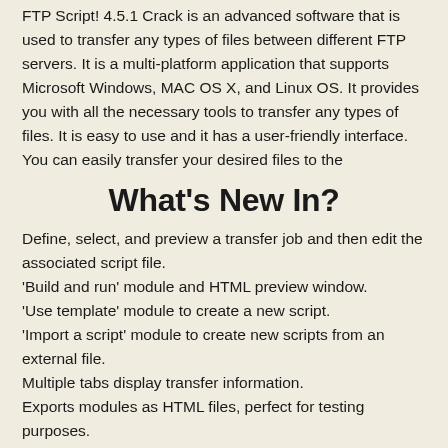FTP Script! 4.5.1 Crack is an advanced software that is used to transfer any types of files between different FTP servers. It is a multi-platform application that supports Microsoft Windows, MAC OS X, and Linux OS. It provides you with all the necessary tools to transfer any types of files. It is easy to use and it has a user-friendly interface. You can easily transfer your desired files to the
What's New In?
Define, select, and preview a transfer job and then edit the associated script file.
'Build and run' module and HTML preview window.
'Use template' module to create a new script.
'Import a script' module to create new scripts from an external file.
Multiple tabs display transfer information.
Exports modules as HTML files, perfect for testing purposes.